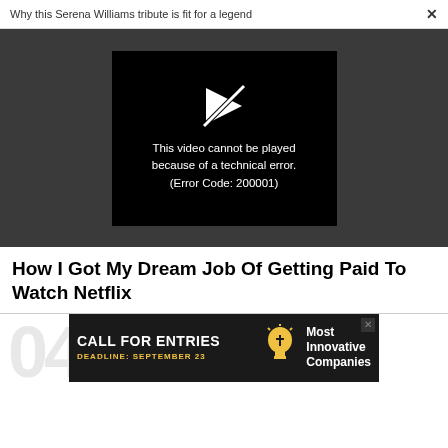Why this Serena Williams tribute is fit for a legend  ×
[Figure (screenshot): Video player showing error: 'This video cannot be played because of a technical error. (Error Code: 200001)' on dark background with broken play icon]
How I Got My Dream Job Of Getting Paid To Watch Netflix
[Figure (infographic): Advertisement banner: 'CALL FOR ENTRIES DEADLINE: SEPTEMBER 23 Most Innovative Companies' with lightbulb icon on dark background]